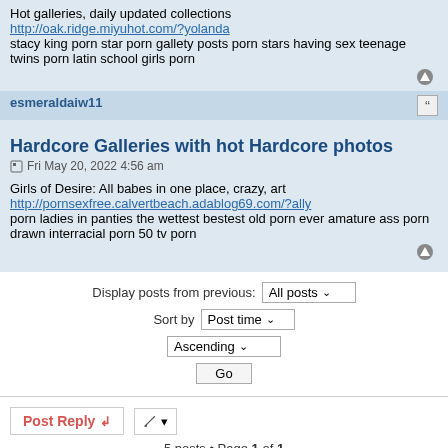Hot galleries, daily updated collections
http://oak.ridge.miyuhot.com/?yolanda
stacy king porn star porn gallety posts porn stars having sex teenage twins porn latin school girls porn
esmeraldaiw11
Hardcore Galleries with hot Hardcore photos
Fri May 20, 2022 4:56 am
Girls of Desire: All babes in one place, crazy, art
http://pornsexfree.calvertbeach.adablog69.com/?ally
porn ladies in panties the wettest bestest old porn ever amature ass porn drawn interracial porn 50 tv porn
Display posts from previous: All posts  Sort by Post time  Ascending  Go
Post Reply
5 posts • Page 1 of 1